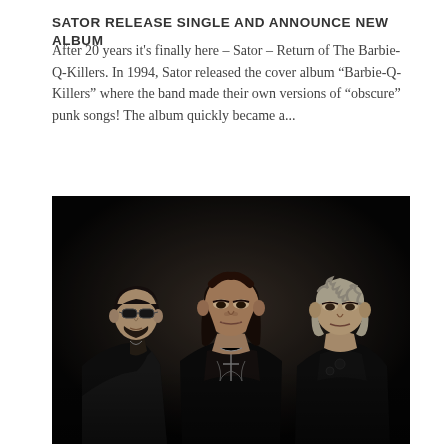SATOR RELEASE SINGLE AND ANNOUNCE NEW ALBUM
After 20 years it's finally here – Sator – Return of The Barbie-Q-Killers. In 1994, Sator released the cover album “Barbie-Q-Killers” where the band made their own versions of “obscure” punk songs! The album quickly became a...
[Figure (photo): Three men in black leather jackets posing against a dark background. Left person wears sunglasses. Center person has long dark hair. Right person has curly light hair.]